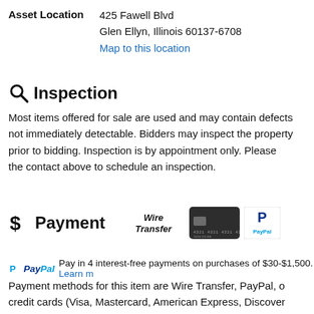Asset Location   425 Fawell Blvd
Glen Ellyn, Illinois 60137-6708
Map to this location
Inspection
Most items offered for sale are used and may contain defects not immediately detectable. Bidders may inspect the property prior to bidding. Inspection is by appointment only. Please contact the contact above to schedule an inspection.
Payment
[Figure (logo): Wire Transfer logo, credit card image, PayPal logo]
PayPal Pay in 4 interest-free payments on purchases of $30-$1,500. Learn more
Payment methods for this item are Wire Transfer, PayPal, or credit cards (Visa, Mastercard, American Express, Discover)